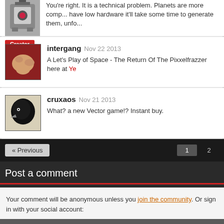You're right. It is a technical problem. Planets are more comp... have low hardware it'll take some time to generate them, unfo...
Creator
intergang Nov 22 2013
A Let's Play of Space - The Return Of The Pixxelfrazzer here at Ye...
cruxaos Nov 21 2013
What? a new Vector game!? Instant buy.
« Previous   1  2
Post a comment
Your comment will be anonymous unless you join the community. Or sign in with your social account: